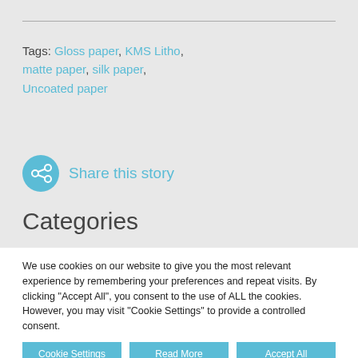Tags: Gloss paper, KMS Litho, matte paper, silk paper, Uncoated paper
Share this story
Categories
We use cookies on our website to give you the most relevant experience by remembering your preferences and repeat visits. By clicking "Accept All", you consent to the use of ALL the cookies. However, you may visit "Cookie Settings" to provide a controlled consent.
Cookie Settings   Read More   Accept All